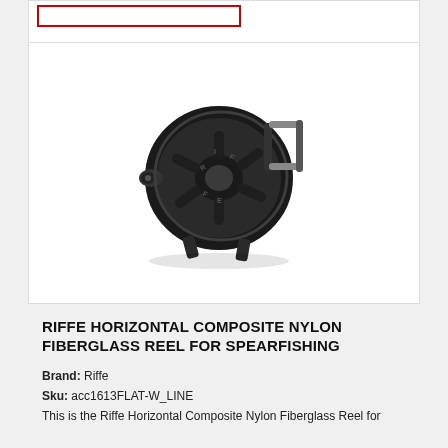[Figure (photo): Black Riffe horizontal composite nylon fiberglass spearfishing reel with handle and line]
RIFFE HORIZONTAL COMPOSITE NYLON FIBERGLASS REEL FOR SPEARFISHING
Brand: Riffe
Sku: acc1613FLAT-W_LINE
This is the Riffe Horizontal Composite Nylon Fiberglass Reel for